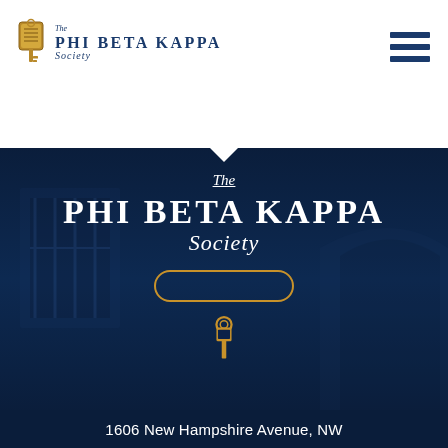[Figure (logo): The Phi Beta Kappa Society logo with scroll/key icon and stylized text]
[Figure (illustration): Hamburger menu icon (three horizontal lines) in navy blue]
[Figure (photo): Hero section with dark navy blue background showing faint building/architecture imagery, overlaid with The Phi Beta Kappa Society text, a gold oval button outline, and a gold key icon]
1606 New Hampshire Avenue, NW